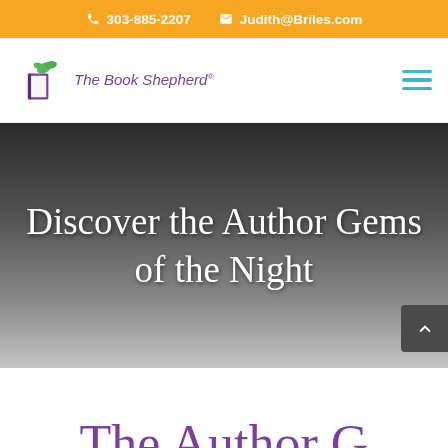303-885-2207   Judith@Briles.com
[Figure (logo): The Book Shepherd logo with purple book and green leaves, purple italic text]
Discover the Author Gems of the Night
The Author G...